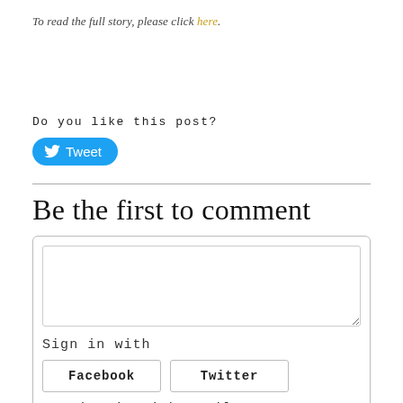To read the full story, please click here.
Do you like this post?
[Figure (other): Tweet button with Twitter bird icon]
Be the first to comment
[Figure (other): Comment text area input box]
Sign in with
[Figure (other): Facebook and Twitter sign-in buttons]
Or sign in with email